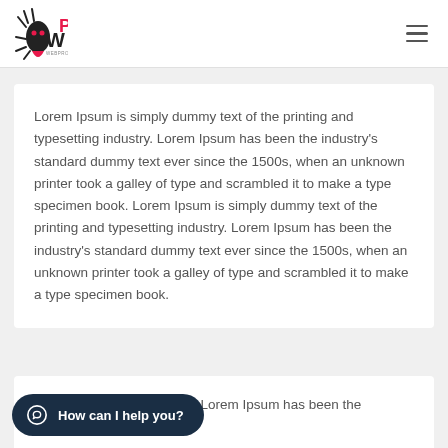[Figure (logo): WebPropellant logo with stylized WP letters in black and red with spider/rocket graphic]
Lorem Ipsum is simply dummy text of the printing and typesetting industry. Lorem Ipsum has been the industry's standard dummy text ever since the 1500s, when an unknown printer took a galley of type and scrambled it to make a type specimen book. Lorem Ipsum is simply dummy text of the printing and typesetting industry. Lorem Ipsum has been the industry's standard dummy text ever since the 1500s, when an unknown printer took a galley of type and scrambled it to make a type specimen book.
omy text of the printing and Lorem Ipsum has been the industry's standard dummy.
How can I help you?